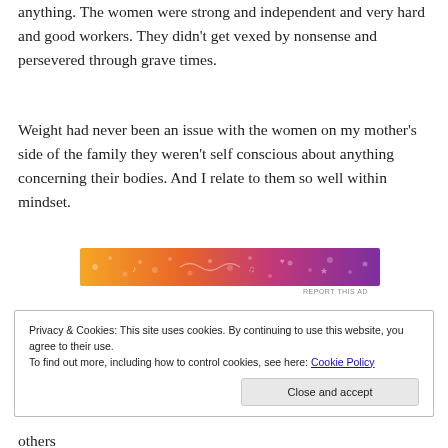anything. The women were strong and independent and very hard and good workers. They didn't get vexed by nonsense and persevered through grave times.
Weight had never been an issue with the women on my mother's side of the family they weren't self conscious about anything concerning their bodies. And I relate to them so well within mindset.
[Figure (illustration): A decorative orange-to-purple gradient banner advertisement with small illustrated icons and patterns.]
REPORT THIS AD
Privacy & Cookies: This site uses cookies. By continuing to use this website, you agree to their use.
To find out more, including how to control cookies, see here: Cookie Policy
Close and accept
others